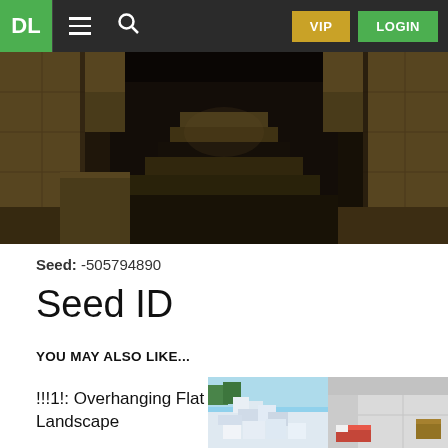DL | VIP | LOGIN
[Figure (screenshot): Minecraft screenshot showing a sandstone cave/dungeon interior with block-style architecture, dark corridor with staircase visible in the center background]
Seed: -505794890
Seed ID
YOU MAY ALSO LIKE...
[Figure (photo): Two Minecraft screenshots side by side: left shows a snowy flat landscape with white block formations; right shows a white interior room with a red bed and chest]
!!!1!: Overhanging Flat Landscape